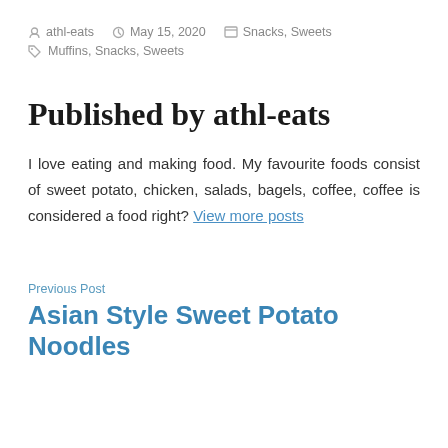athl-eats   May 15, 2020   Snacks, Sweets
Muffins, Snacks, Sweets
Published by athl-eats
I love eating and making food. My favourite foods consist of sweet potato, chicken, salads, bagels, coffee, coffee is considered a food right? View more posts
Previous Post
Asian Style Sweet Potato Noodles